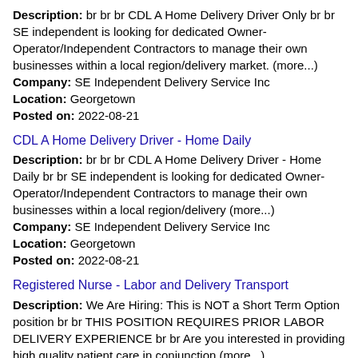Description: br br br CDL A Home Delivery Driver Only br br SE independent is looking for dedicated Owner-Operator/Independent Contractors to manage their own businesses within a local region/delivery market. (more...)
Company: SE Independent Delivery Service Inc
Location: Georgetown
Posted on: 2022-08-21
CDL A Home Delivery Driver - Home Daily
Description: br br br CDL A Home Delivery Driver - Home Daily br br SE independent is looking for dedicated Owner-Operator/Independent Contractors to manage their own businesses within a local region/delivery (more...)
Company: SE Independent Delivery Service Inc
Location: Georgetown
Posted on: 2022-08-21
Registered Nurse - Labor and Delivery Transport
Description: We Are Hiring: This is NOT a Short Term Option position br br THIS POSITION REQUIRES PRIOR LABOR DELIVERY EXPERIENCE br br Are you interested in providing high quality patient care in conjunction (more...)
Company: Ascension
Location: Georgetown
Posted on: 2022-08-24
Bike Delivery Expert(06826) - 104 Western Trail, S